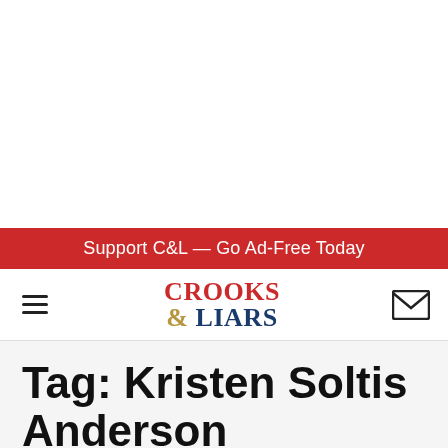Support C&L — Go Ad-Free Today
CROOKS & LIARS
Tag: Kristen Soltis Anderson